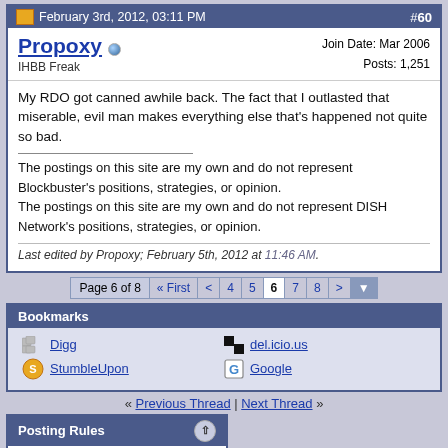February 3rd, 2012, 03:11 PM  #60
Propoxy  IHBB Freak  Join Date: Mar 2006  Posts: 1,251
My RDO got canned awhile back. The fact that I outlasted that miserable, evil man makes everything else that's happened not quite so bad.

The postings on this site are my own and do not represent Blockbuster's positions, strategies, or opinion.
The postings on this site are my own and do not represent DISH Network's positions, strategies, or opinion.
Last edited by Propoxy; February 5th, 2012 at 11:46 AM.
Page 6 of 8  « First  <  4  5  6  7  8  >
Bookmarks
Digg  del.icio.us  StumbleUpon  Google
« Previous Thread | Next Thread »
Posting Rules
You may not post new threads
You may not post replies
You may not post attachments